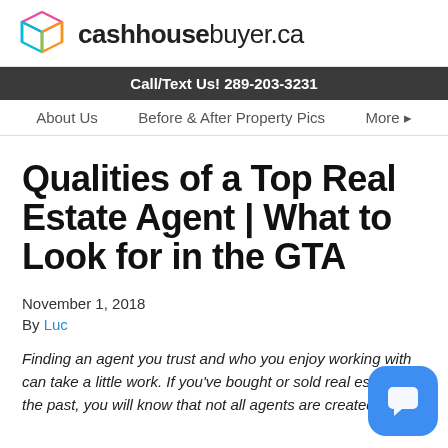[Figure (logo): CashHouseBuyer.ca logo with colorful cube icon and site name text]
Call/Text Us! 289-203-3231
About Us   Before & After Property Pics   More ▸
Qualities of a Top Real Estate Agent | What to Look for in the GTA
November 1, 2018
By Luc
Finding an agent you trust and who you enjoy working with can take a little work. If you've bought or sold real estate in the past, you will know that not all agents are created equally. It's important that you work with someone you trust...